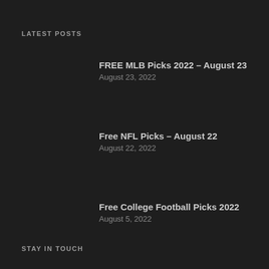LATEST POSTS
FREE MLB Picks 2022 – August 23
August 23, 2022
Free NFL Picks – August 22
August 22, 2022
Free College Football Picks 2022
August 5, 2022
STAY IN TOUCH